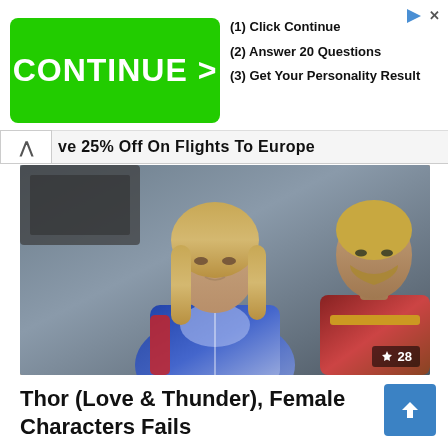[Figure (screenshot): Green CONTINUE > button advertisement with steps: (1) Click Continue, (2) Answer 20 Questions, (3) Get Your Personality Result]
ve 25% Off On Flights To Europe
[Figure (photo): Two actors in Thor costumes from Marvel's Thor Love & Thunder - a woman in blue armor in the foreground and a man with a beard in red/gold armor in the background. Badge showing trending icon and 28.]
Thor (Love & Thunder), Female Characters Fails